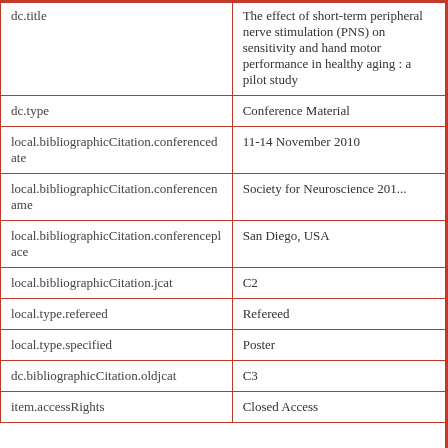| Field | Value |
| --- | --- |
| dc.title | The effect of short-term peripheral nerve stimulation (PNS) on sensitivity and hand motor performance in healthy aging : a pilot study |
| dc.type | Conference Material |
| local.bibliographicCitation.conferencedate | 11-14 November 2010 |
| local.bibliographicCitation.conferencename | Society for Neuroscience 201... |
| local.bibliographicCitation.conferenceplace | San Diego, USA |
| local.bibliographicCitation.jcat | C2 |
| local.type.refereed | Refereed |
| local.type.specified | Poster |
| dc.bibliographicCitation.oldjcat | C3 |
| item.accessRights | Closed Access |